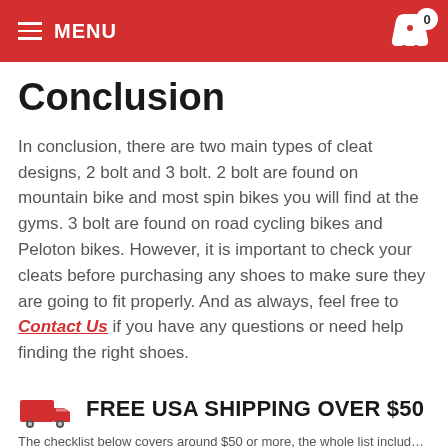MENU | 0
Conclusion
In conclusion, there are two main types of cleat designs, 2 bolt and 3 bolt. 2 bolt are found on mountain bike and most spin bikes you will find at the gyms. 3 bolt are found on road cycling bikes and Peloton bikes. However, it is important to check your cleats before purchasing any shoes to make sure they are going to fit properly. And as always, feel free to Contact Us if you have any questions or need help finding the right shoes.
FREE USA SHIPPING OVER $50